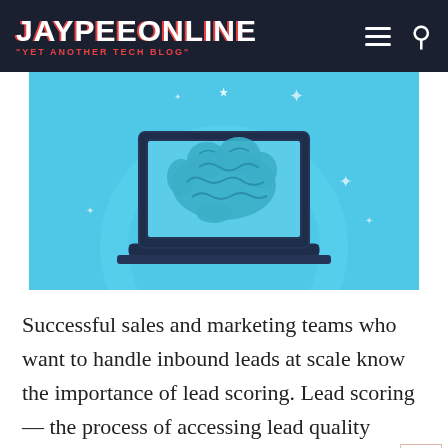JAYPEEONLINE "YET ANOTHER TECH BLOG"
[Figure (illustration): Illustration of a laptop with a blue brain graphic on screen, set against a light blue background with sparkle decorations and a circular arc behind the laptop.]
Successful sales and marketing teams who want to handle inbound leads at scale know the importance of lead scoring. Lead scoring— the process of accessing lead quality through